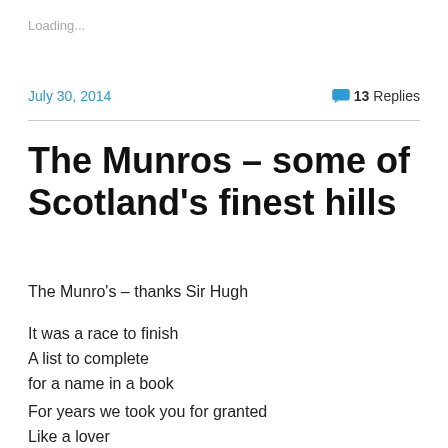Loading...
July 30, 2014
💬 13 Replies
The Munros – some of Scotland's finest hills
The Munro's – thanks Sir Hugh
It was a race to finish
A list to complete
for a name in a book
For years we took you for granted
Like a lover